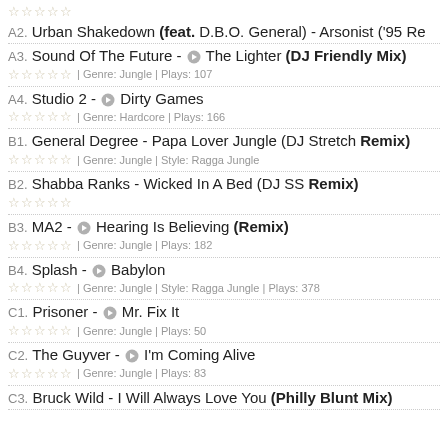A2. Urban Shakedown (feat. D.B.O. General) - Arsonist ('95 Re...
A3. Sound Of The Future - The Lighter (DJ Friendly Mix) | Genre: Jungle | Plays: 107
A4. Studio 2 - Dirty Games | Genre: Hardcore | Plays: 166
B1. General Degree - Papa Lover Jungle (DJ Stretch Remix) | Genre: Jungle | Style: Ragga Jungle
B2. Shabba Ranks - Wicked In A Bed (DJ SS Remix)
B3. MA2 - Hearing Is Believing (Remix) | Genre: Jungle | Plays: 182
B4. Splash - Babylon | Genre: Jungle | Style: Ragga Jungle | Plays: 378
C1. Prisoner - Mr. Fix It | Genre: Jungle | Plays: 50
C2. The Guyver - I'm Coming Alive | Genre: Jungle | Plays: 83
C3. Bruck Wild - I Will Always Love You (Philly Blunt Mix)